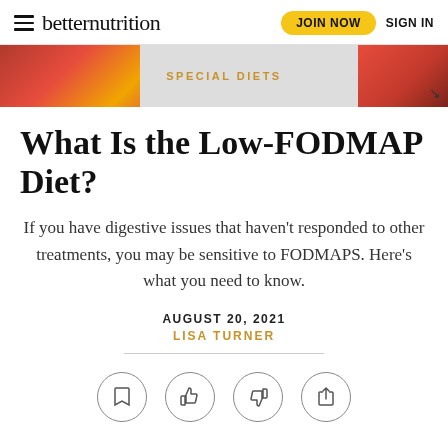betternutrition — JOIN NOW  SIGN IN
SPECIAL DIETS
What Is the Low-FODMAP Diet?
If you have digestive issues that haven't responded to other treatments, you may be sensitive to FODMAPS. Here's what you need to know.
AUGUST 20, 2021
LISA TURNER
[Figure (infographic): Four circular action icons: bookmark, thumbs up, thumbs down, share]